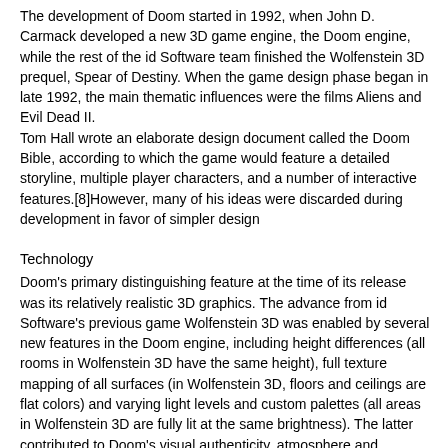The development of Doom started in 1992, when John D. Carmack developed a new 3D game engine, the Doom engine, while the rest of the id Software team finished the Wolfenstein 3D prequel, Spear of Destiny. When the game design phase began in late 1992, the main thematic influences were the films Aliens and Evil Dead II.
Tom Hall wrote an elaborate design document called the Doom Bible, according to which the game would feature a detailed storyline, multiple player characters, and a number of interactive features.[8]However, many of his ideas were discarded during development in favor of simpler design
Technology
Doom's primary distinguishing feature at the time of its release was its relatively realistic 3D graphics. The advance from id Software's previous game Wolfenstein 3D was enabled by several new features in the Doom engine, including height differences (all rooms in Wolfenstein 3D have the same height), full texture mapping of all surfaces (in Wolfenstein 3D, floors and ceilings are flat colors) and varying light levels and custom palettes (all areas in Wolfenstein 3D are fully lit at the same brightness). The latter contributed to Doom's visual authenticity, atmosphere and gameplay, as the use of darkness to frighten or confuse the player was nearly unheard of in games released prior to Doom; palette modifications were used to enhance effects such as the berserk power-up which tints the player's vision red.
How did you feel when you stepped into a room that was lit only by a strobe effect?